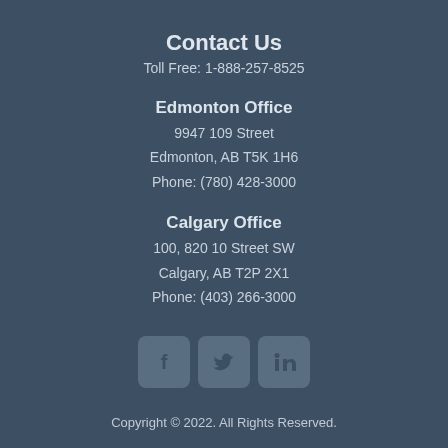Contact Us
Toll Free: 1-888-257-8525
Edmonton Office
9947 109 Street
Edmonton, AB T5K 1H6
Phone: (780) 428-3000
Calgary Office
100, 820 10 Street SW
Calgary, AB T2P 2X1
Phone: (403) 266-3000
[Figure (logo): Social media icons: Facebook, Twitter, LinkedIn rounded square buttons]
Copyright © 2022. All Rights Reserved.